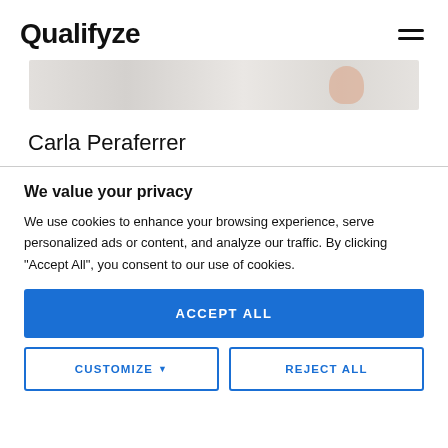Qualifyze
[Figure (photo): Partial hero banner image showing a person, light gray/beige background]
Carla Peraferrer
We value your privacy
We use cookies to enhance your browsing experience, serve personalized ads or content, and analyze our traffic. By clicking "Accept All", you consent to our use of cookies.
ACCEPT ALL
CUSTOMIZE
REJECT ALL